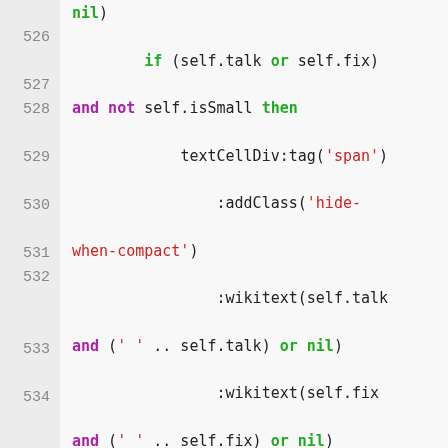Code listing lines 526-534, Lua/scripting source code showing conditional logic with textCellDiv, wikitext, and related methods.